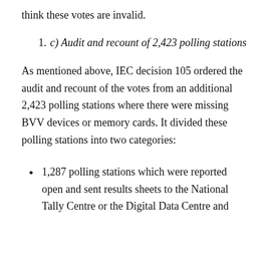think these votes are invalid.
1. c) Audit and recount of 2,423 polling stations
As mentioned above, IEC decision 105 ordered the audit and recount of the votes from an additional 2,423 polling stations where there were missing BVV devices or memory cards. It divided these polling stations into two categories:
1,287 polling stations which were reported open and sent results sheets to the National Tally Centre or the Digital Data Centre and